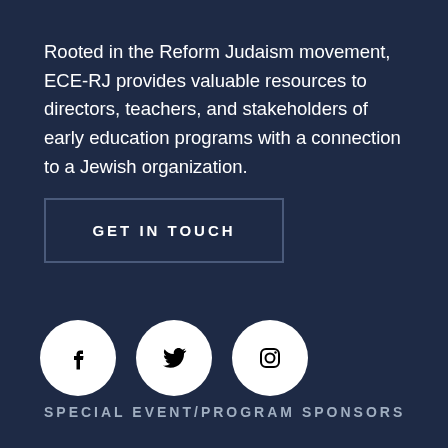Rooted in the Reform Judaism movement, ECE-RJ provides valuable resources to directors, teachers, and stakeholders of early education programs with a connection to a Jewish organization.
GET IN TOUCH
[Figure (illustration): Three white circular social media icons for Facebook, Twitter, and Instagram on a dark navy background]
SPECIAL EVENT/PROGRAM SPONSORS